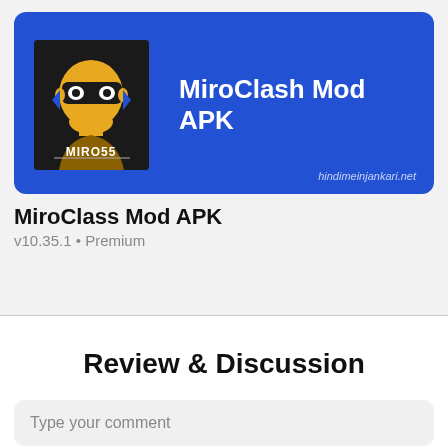[Figure (screenshot): MiroClash Mod APK banner card on blue background with app icon (masked character with MIRO55 text) and app name in white bold text. Website tag hindimeinjankari.net at bottom right.]
MiroClass Mod APK
v10.35.1 • Premium
Review & Discussion
Type your comment